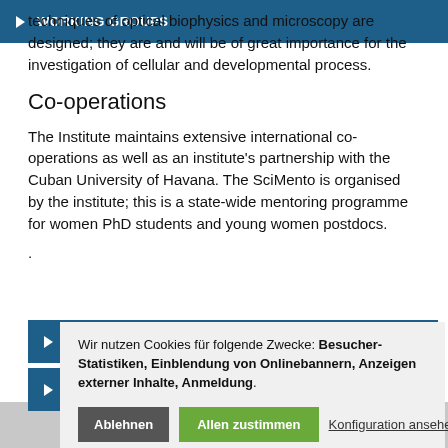techniques of optical biophysics and microscopy are designed; they are and will be of great importance for the investigation of cellular and developmental process.
Co-operations
The Institute maintains extensive international co-operations as well as an institute's partnership with the Cuban University of Havana. The SciMento is organised by the institute; this is a state-wide mentoring programme for women PhD students and young women postdocs.
.
WORKING GROUPS
TEACHING
Wir nutzen Cookies für folgende Zwecke: Besucher-Statistiken, Einblendung von Onlinebannern, Anzeigen externer Inhalte, Anmeldung.
Ablehnen   Allen zustimmen   Konfiguration ansehen...